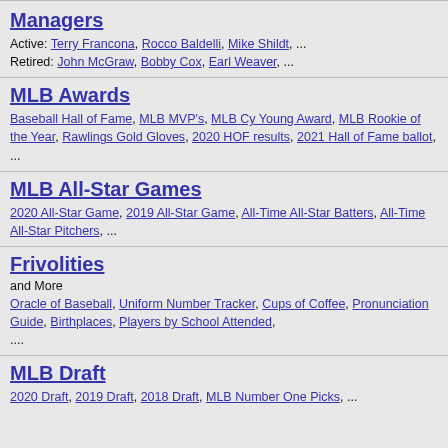Managers
Active: Terry Francona, Rocco Baldelli, Mike Shildt, ...
Retired: John McGraw, Bobby Cox, Earl Weaver, ...
MLB Awards
Baseball Hall of Fame, MLB MVP's, MLB Cy Young Award, MLB Rookie of the Year, Rawlings Gold Gloves, 2020 HOF results, 2021 Hall of Fame ballot, ...
MLB All-Star Games
2020 All-Star Game, 2019 All-Star Game, All-Time All-Star Batters, All-Time All-Star Pitchers, ...
Frivolities
and More
Oracle of Baseball, Uniform Number Tracker, Cups of Coffee, Pronunciation Guide, Birthplaces, Players by School Attended, ....
MLB Draft
2020 Draft, 2019 Draft, 2018 Draft, MLB Number One Picks, ...